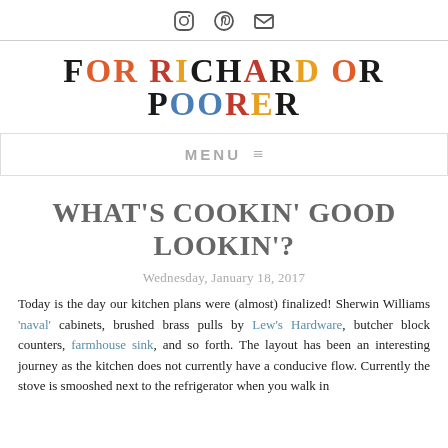Instagram Pinterest Email icons
FOR RICHARD OR POORER
MENU ≡
WHAT'S COOKIN' GOOD LOOKIN'?
Wednesday, January 18, 2017
Today is the day our kitchen plans were (almost) finalized! Sherwin Williams 'naval' cabinets, brushed brass pulls by Lew's Hardware, butcher block counters, farmhouse sink, and so forth. The layout has been an interesting journey as the kitchen does not currently have a conducive flow. Currently the stove is smooshed next to the refrigerator when you walk in